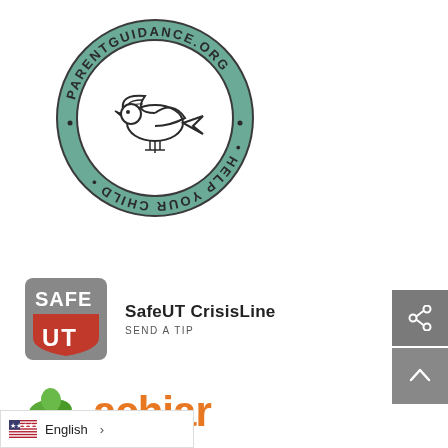[Figure (logo): ParentGuidance.org circular seal logo with a dove/bird graphic and text 'PARENTGUIDANCE.ORG • HELP YOUR CHILD •']
[Figure (logo): SafeUT CrisisLine app icon showing 'SAFE UT' text with a red shield shape on grey background, alongside text 'SafeUT CrisisLine SEND A TIP']
[Figure (logo): Achjar logo with green leaf/tree graphic and orange text 'achjar']
English >
[Figure (infographic): Share button (grey square with share icon) and Up/scroll button (grey square with up arrow)]